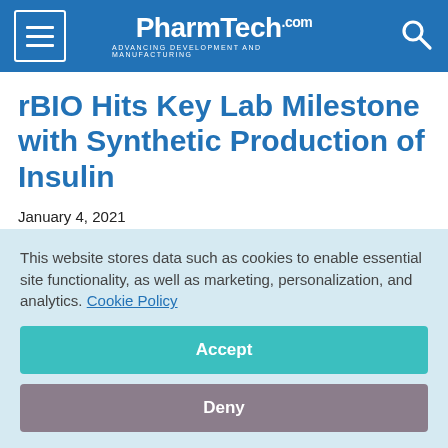PharmTech.com — ADVANCING DEVELOPMENT AND MANUFACTURING
rBIO Hits Key Lab Milestone with Synthetic Production of Insulin
January 4, 2021
Pharmaceutical Technology Editors
In the Lab eNewsletter, Pharmaceutical Technology's In the
This website stores data such as cookies to enable essential site functionality, as well as marketing, personalization, and analytics. Cookie Policy
Accept
Deny